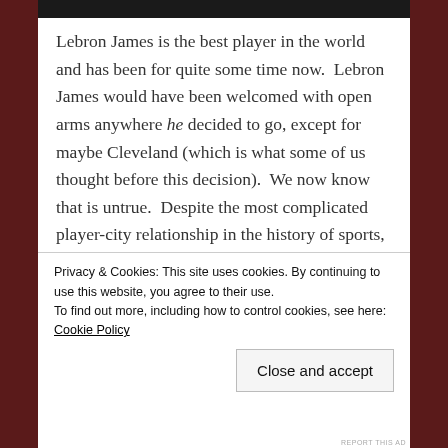Lebron James is the best player in the world and has been for quite some time now. Lebron James would have been welcomed with open arms anywhere he decided to go, except for maybe Cleveland (which is what some of us thought before this decision). We now know that is untrue. Despite the most complicated player-city relationship in the history of sports, despite the burning of his jerseys, despite the angriest letter (compliments of Cavaliers owner Dan Gilbert) we've ever seen, and despite The Decision 4 years ago,
Privacy & Cookies: This site uses cookies. By continuing to use this website, you agree to their use. To find out more, including how to control cookies, see here: Cookie Policy
Close and accept